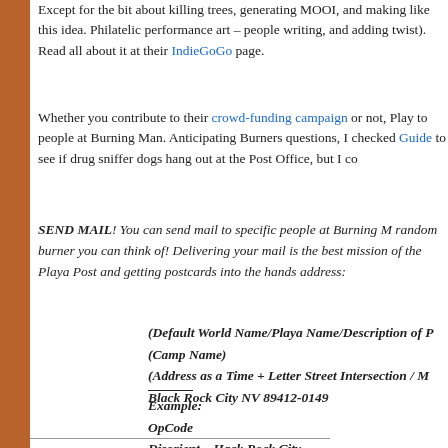Except for the bit about killing trees, generating MOOI, and making like this idea. Philatelic performance art – people writing, and adding twist). Read all about it at their IndieGoGo page.
Whether you contribute to their crowd-funding campaign or not, Play to people at Burning Man. Anticipating Burners questions, I checked Guide to see if drug sniffer dogs hang out at the Post Office, but I co
SEND MAIL! You can send mail to specific people at Burning M random burner you can think of! Delivering your mail is the best mission of the Playa Post and getting postcards into the hands address:
(Default World Name/Playa Name/Description of P
(Camp Name)
(Address as a Time + Letter Street Intersection / M
Black Rock City NV 89412-0149
Example:
OpCode
Disorient – Hack Rock City
2:15 and A / Man Side
Black Rock City NV 89412-0149